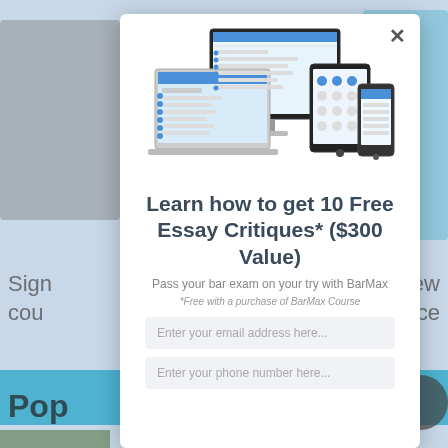[Figure (screenshot): Background page with devices, text snippets, blue bar, and a photo thumbnail partially visible behind modal]
[Figure (screenshot): Modal popup showing multiple devices (laptop, desktop monitor, tablet, phone) displaying BarMax app interface]
Learn how to get 10 Free Essay Critiques* ($300 Value)
Pass your bar exam on your try with BarMax
*Free with a purchase of BarMax Course
Enter your email address here...
Enter your phone number here...